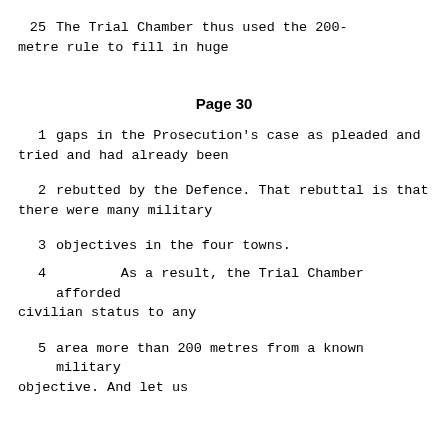25      The Trial Chamber thus used the 200-metre rule to fill in huge
Page 30
1      gaps in the Prosecution's case as pleaded and tried and had already been
2      rebutted by the Defence.  That rebuttal is that there were many military
3      objectives in the four towns.
4              As a result, the Trial Chamber afforded civilian status to any
5      area more than 200 metres from a known military objective.  And let us